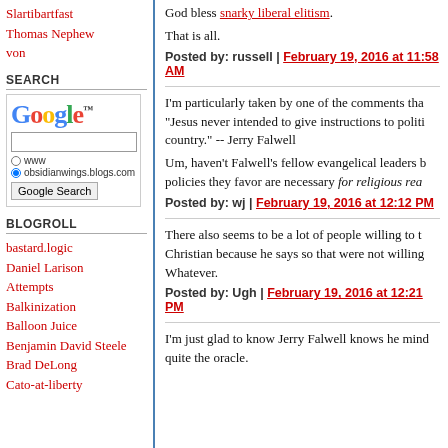Slartibartfast
Thomas Nephew
von
SEARCH
[Figure (screenshot): Google search widget with logo, text input, www and obsidianwings.blogs.com radio buttons, and Google Search button]
BLOGROLL
bastard.logic
Daniel Larison
Attempts
Balkinization
Balloon Juice
Benjamin David Steele
Brad DeLong
Cato-at-liberty
God bless snarky liberal elitism. That is all.
Posted by: russell | February 19, 2016 at 11:58 AM
I'm particularly taken by one of the comments that... "Jesus never intended to give instructions to politi... country." -- Jerry Falwell
Um, haven't Falwell's fellow evangelical leaders b... policies they favor are necessary for religious rea...
Posted by: wj | February 19, 2016 at 12:12 PM
There also seems to be a lot of people willing to t... Christian because he says so that were not willing... Whatever.
Posted by: Ugh | February 19, 2016 at 12:21 PM
I'm just glad to know Jerry Falwell knows he mind... quite the oracle.